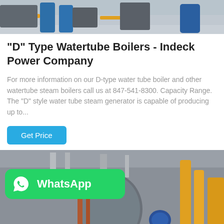[Figure (photo): Industrial boiler equipment photo showing blue tanks and yellow pipes in a factory setting]
"D" Type Watertube Boilers - Indeck Power Company
For more information on our D-type water tube boiler and other watertube steam boilers call us at 847-541-8300. Capacity Range. The "D" style water tube steam generator is capable of producing up to...
[Figure (photo): Industrial boiler room with large cylindrical boiler vessel, pipes and yellow gas lines]
[Figure (infographic): WhatsApp badge/button with green background showing WhatsApp logo and text]